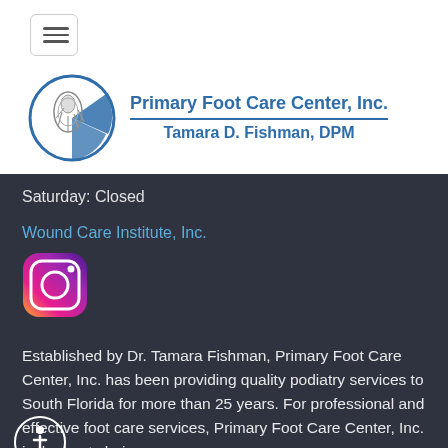[Figure (logo): Hamburger menu button with three horizontal lines inside a rounded rectangle border]
[Figure (logo): Primary Foot Care Center Inc. logo with circular foot anatomy illustration and blue text: 'Primary Foot Care Center, Inc.' and 'Tamara D. Fishman, DPM']
Saturday: Closed
Wound Care Institute, Inc.
[Figure (logo): Instagram app icon with camera graphic in gradient orange-pink-purple colors]
Established by Dr. Tamara Fishman, Primary Foot Care Center, Inc. has been providing quality podiatry services to South Florida for more than 25 years. For professional and effective foot care services, Primary Foot Care Center, Inc. is the best choice.
[Figure (logo): Accessibility icon showing wheelchair user in a circle]